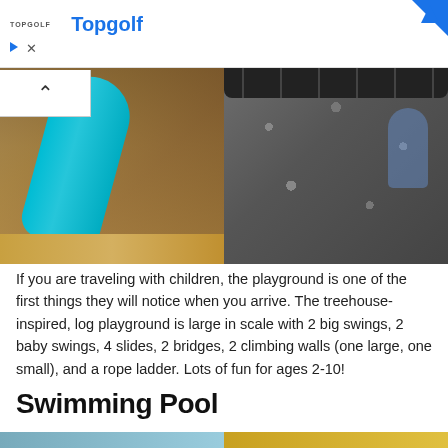Topgolf
[Figure (photo): Outdoor playground with a teal/green slide on a wooden play structure, with wood chip ground cover]
[Figure (photo): Child climbing a rock wall on a playground structure, with tires across the top]
If you are traveling with children, the playground is one of the first things they will notice when you arrive. The treehouse-inspired, log playground is large in scale with 2 big swings, 2 baby swings, 4 slides, 2 bridges, 2 climbing walls (one large, one small), and a rope ladder. Lots of fun for ages 2-10!
Swimming Pool
[Figure (photo): Swimming pool area, partial view at bottom of page]
[Figure (photo): Swimming pool or outdoor area, partial view at bottom of page]